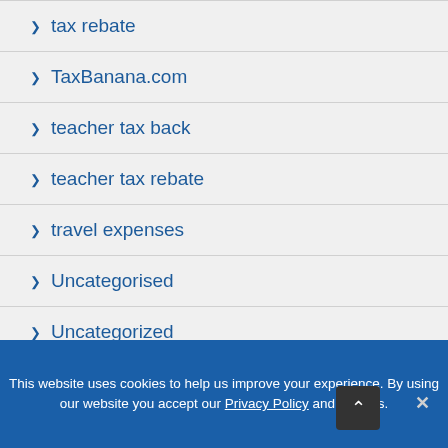tax rebate
TaxBanana.com
teacher tax back
teacher tax rebate
travel expenses
Uncategorised
Uncategorized
Uniform tax relief
This website uses cookies to help us improve your experience. By using our website you accept our Privacy Policy and cookies.